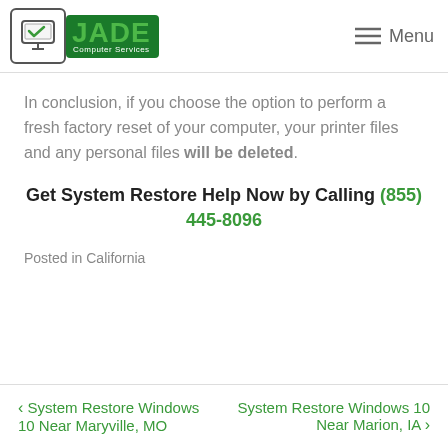JADE Computer Services — Menu
In conclusion, if you choose the option to perform a fresh factory reset of your computer, your printer files and any personal files will be deleted.
Get System Restore Help Now by Calling (855) 445-8096
Posted in California
< System Restore Windows 10 Near Maryville, MO    System Restore Windows 10 Near Marion, IA >